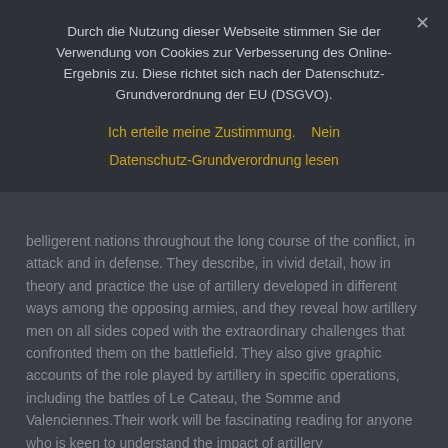Durch die Nutzung dieser Webseite stimmen Sie der Verwendung von Cookies zur Verbesserung des Online-Ergebnis zu. Diese richtet sich nach der Datenschutz-Grundverordnung der EU (DSGVO).
Ich erteile meine Zustimmung.    Nein
Datenschutz-Grundverordnung lesen
belligerent nations throughout the long course of the conflict, in attack and in defense. They describe, in vivid detail, how in theory and practice the use of artillery developed in different ways among the opposing armies, and they reveal how artillery men on all sides coped with the extraordinary challenges that confronted them on the battlefield. They also give graphic accounts of the role played by artillery in specific operations, including the battles of Le Cateau, the Somme and Valenciennes.Their work will be fascinating reading for anyone who is keen to understand the impact of artillery
Click here!